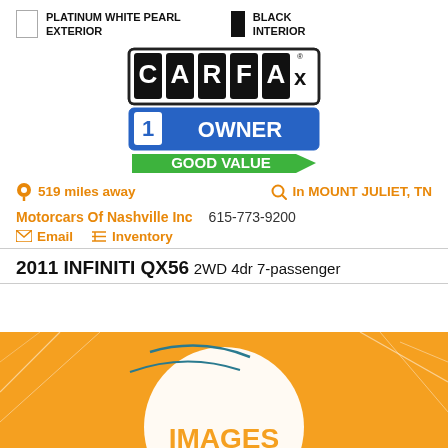PLATINUM WHITE PEARL EXTERIOR
BLACK INTERIOR
[Figure (logo): CARFAX 1 Owner Good Value badge/logo]
519 miles away
In MOUNT JULIET, TN
Motorcars Of Nashville Inc    615-773-9200
Email   Inventory
2011 INFINITI QX56 2WD 4dr 7-passenger
[Figure (other): Orange IMAGES placeholder background graphic]